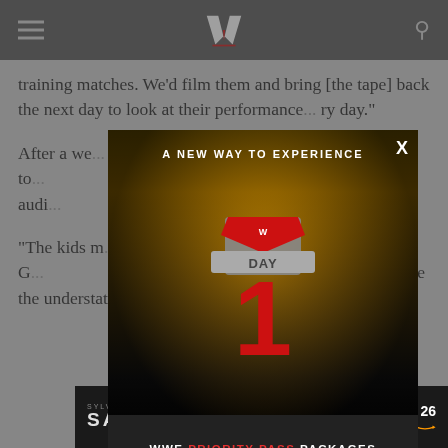WWE (logo header with hamburger menu and search icon)
training matches. We'd film them and bring [the tape] back the next day to look at their performance... every day."
After a we... t the trainees to... in front of a live audi... local independe... ls,
"The kids m... of his students. G... ss stories that emerg... may be the understatement of the century.
[Figure (screenshot): WWE Day 1 Priority Pass modal advertisement overlay with crowd background, 'A NEW WAY TO EXPERIENCE' headline, WWE Day 1 logo, 'WWE PRIORITY PASS PACKAGES AVAILABLE NOW' text, 'CLICK HERE TO BUY' button, and 'WWE ON LOCATION' branding. Close X button in top right.]
[Figure (screenshot): Samaritan movie advertisement banner featuring Sylvester Stallone, 'AUG 26 prime video' on dark background.]